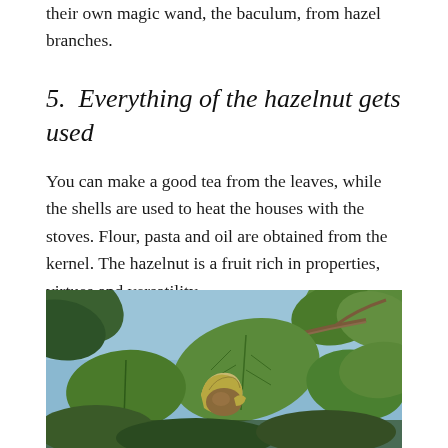their own magic wand, the baculum, from hazel branches.
5.  Everything of the hazelnut gets used
You can make a good tea from the leaves, while the shells are used to heat the houses with the stoves. Flour, pasta and oil are obtained from the kernel. The hazelnut is a fruit rich in properties, virtues and versatility.
[Figure (photo): Close-up photograph of hazelnuts on a branch with green leaves against a blue sky background.]